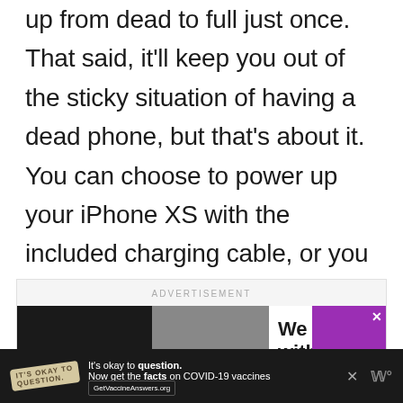enough to keep your MagicMount juiced up from dead to full just once. That said, it'll keep you out of the sticky situation of having a dead phone, but that's about it. You can choose to power up your iPhone XS with the included charging cable, or you can use it over Qi wireless charging with an adapter.
[Figure (screenshot): Advertisement banner showing 'We stand with you.' text with black, gray, and purple sections, and a close button (X) in the top right corner.]
[Figure (screenshot): Bottom advertisement bar on dark background with COVID-19 vaccine information: 'It's okay to question. Now get the facts on COVID-19 vaccines' with GetVaccineAnswers.org link, and a close button.]